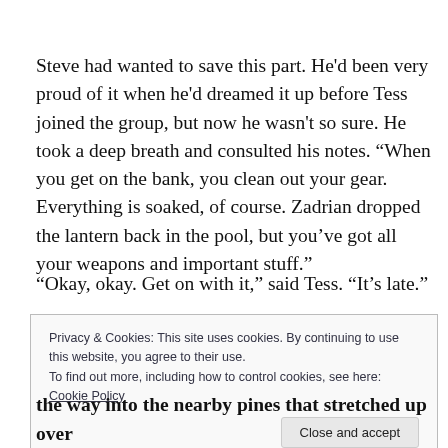Steve had wanted to save this part. He'd been very proud of it when he'd dreamed it up before Tess joined the group, but now he wasn't so sure. He took a deep breath and consulted his notes. “When you get on the bank, you clean out your gear. Everything is soaked, of course. Zadrian dropped the lantern back in the pool, but you've got all your weapons and important stuff.”
“Okay, okay. Get on with it,” said Tess. “It’s late.”
Privacy & Cookies: This site uses cookies. By continuing to use this website, you agree to their use.
To find out more, including how to control cookies, see here: Cookie Policy
Close and accept
the way into the nearby pines that stretched up over